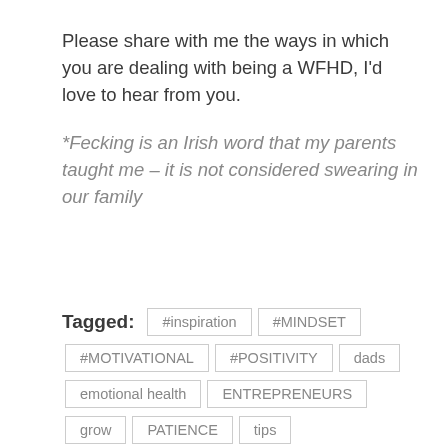Please share with me the ways in which you are dealing with being a WFHD, I'd love to hear from you.
*Fecking is an Irish word that my parents taught me – it is not considered swearing in our family
Tagged: #inspiration #MINDSET #MOTIVATIONAL #POSITIVITY dads emotional health ENTREPRENEURS grow PATIENCE tips